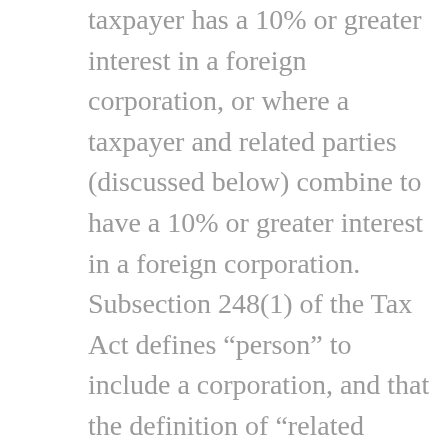taxpayer has a 10% or greater interest in a foreign corporation, or where a taxpayer and related parties (discussed below) combine to have a 10% or greater interest in a foreign corporation. Subsection 248(1) of the Tax Act defines “person” to include a corporation, and that the definition of “related persons” in subsection 251(2) of the Income Tax Act includes not only relations by virtue of blood, marriage, common law partnership or adoption, but also situations where corporations are controlled by individuals that are related to one another. The rules relating to foreign affiliates and related persons under the Income Tax Act are expansive and